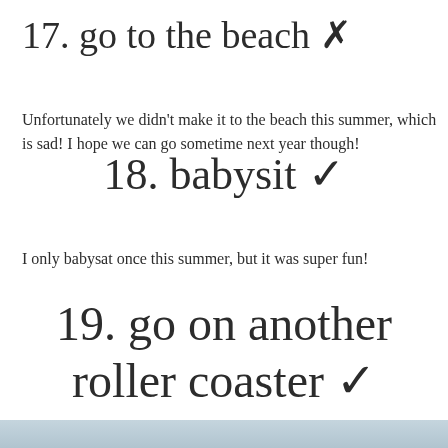17. go to the beach ✗
Unfortunately we didn't make it to the beach this summer, which is sad! I hope we can go sometime next year though!
18. babysit ✓
I only babysat once this summer, but it was super fun!
19. go on another roller coaster ✓
[Figure (photo): A misty/cloudy sky or roller coaster photo with light blue-grey tones]